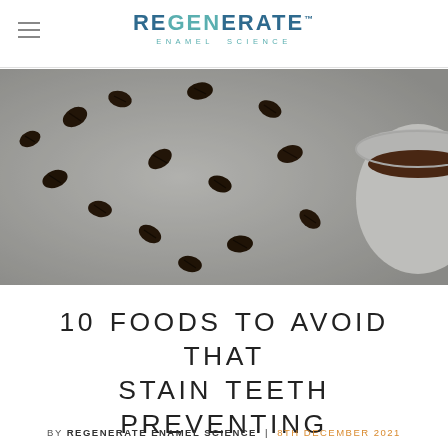REGENERATE™ ENAMEL SCIENCE
[Figure (photo): Overhead view of scattered coffee beans on a light grey/white surface with a white coffee cup on the right side containing dark coffee, slightly dark-tone photo.]
10 FOODS TO AVOID THAT STAIN TEETH PREVENTING WHITE SMILES
BY REGENERATE ENAMEL SCIENCE | 8TH DECEMBER 2021